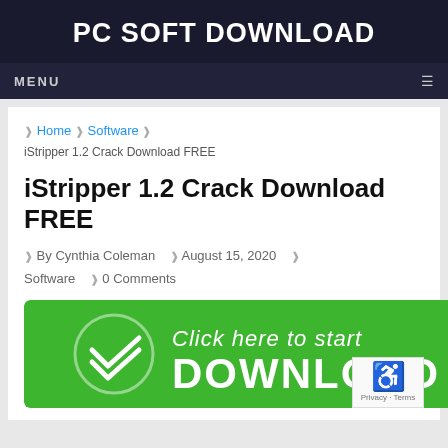PC SOFT DOWNLOAD
MENU
❱ Home ❱ Software ❱ iStripper 1.2 Crack Download FREE
iStripper 1.2 Crack Download FREE
❱ By Cynthia Coleman ❱ August 15, 2020 ❱ Software ❱ 0 Comments
[Figure (infographic): Green download button with white checkmark circle icon, text 'Click here to start' in italic script and 'DOWNLOAD' in bold white letters]